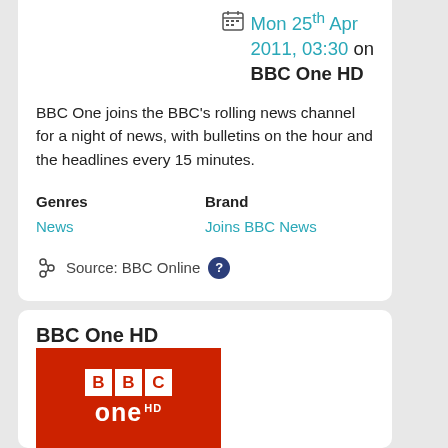Mon 25th Apr 2011, 03:30 on BBC One HD
BBC One joins the BBC's rolling news channel for a night of news, with bulletins on the hour and the headlines every 15 minutes.
Genres: News | Brand: Joins BBC News
Source: BBC Online
BBC One HD
[Figure (logo): BBC One HD logo on red background with BBC boxes and 'one HD' text in white]